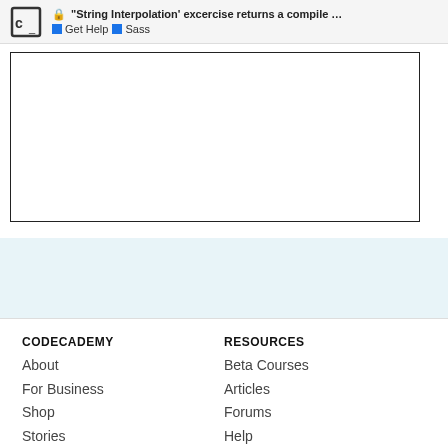"String Interpolation' excercise returns a compile ... | Get Help | Sass
[Figure (screenshot): White bordered content box on white background]
[Figure (screenshot): Light blue background section]
CODECADEMY
About
For Business
Shop
Stories
We're Hiring
RESOURCES
Beta Courses
Articles
Forums
Help
Blog
Roadmap